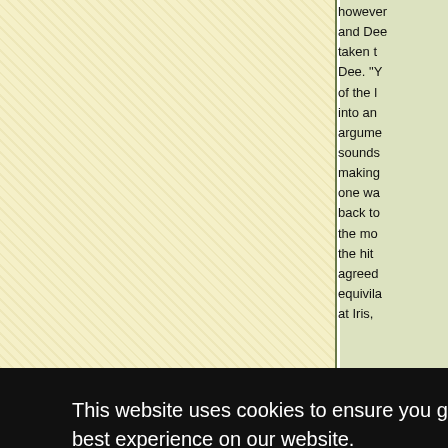[Figure (other): Yellow textured panel (top left)]
[Figure (other): Light green panel (top center)]
however and Dee taken t Dee. "Y of the l into an argume sounds making one wa back to the mo the hit agreed equivila at Iris,
This website uses cookies to ensure you get the best experience on our website.
Learn more
Got it!
Iris spo weaklin female she tho
[Figure (logo): Saratank logo — white italic bold text on blue background]